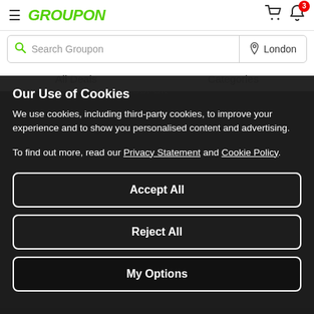GROUPON — hamburger menu, cart icon, bell with badge 3
Search Groupon | London
All Deals   Categories
Our Use of Cookies
We use cookies, including third-party cookies, to improve your experience and to show you personalised content and advertising.
To find out more, read our Privacy Statement and Cookie Policy.
Accept All
Reject All
My Options